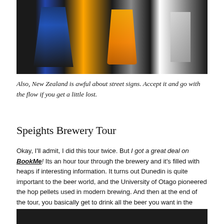[Figure (photo): Dark background photo with stylized figures — blue figure on left, orange/amber arch shape in center, white/grey figure on right]
Also, New Zealand is awful about street signs. Accept it and go with the flow if you get a little lost.
Speights Brewery Tour
Okay, I'll admit, I did this tour twice. But I got a great deal on BookMe! Its an hour tour through the brewery and it's filled with heaps if interesting information. It turns out Dunedin is quite important to the beer world, and the University of Otago pioneered the hop pellets used in modern brewing. And then at the end of the tour, you basically get to drink all the beer you want in the tasting room for 30 min or so.
[Figure (photo): Exterior and entrance sign of Speights Brewery at night, illuminated golden sign reading SPEIGHT'S with ornate lettering, dark surroundings with partial building facade visible]